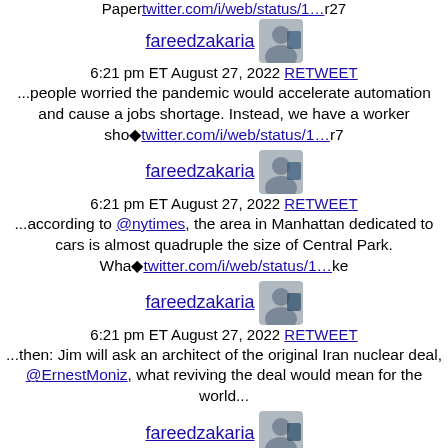Paper twitter.com/i/web/status/1…r27
[Figure (photo): Profile photo of fareedzakaria]
fareedzakaria
6:21 pm ET August 27, 2022 RETWEET
...people worried the pandemic would accelerate automation and cause a jobs shortage. Instead, we have a worker sho🔷twitter.com/i/web/status/1…r7
[Figure (photo): Profile photo of fareedzakaria]
fareedzakaria
6:21 pm ET August 27, 2022 RETWEET
...according to @nytimes, the area in Manhattan dedicated to cars is almost quadruple the size of Central Park. Wha🔷twitter.com/i/web/status/1…ke
[Figure (photo): Profile photo of fareedzakaria]
fareedzakaria
6:21 pm ET August 27, 2022 RETWEET
...then: Jim will ask an architect of the original Iran nuclear deal, @ErnestMoniz, what reviving the deal would mean for the world...
[Figure (photo): Profile photo of fareedzakaria]
fareedzakaria
6:21 pm ET August 27, 2022 RETWEET
On GPS, @ 10am & 1pm ET Sunday on @CNN: @jimsciutto fills in for me again while I'm on vacation. As the war in Ukratwitter.com/i/web/status/1…y7yX
[Figure (photo): Profile photo of fareedzakaria (partial)]